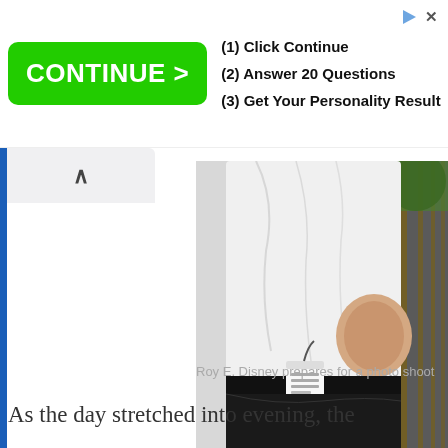[Figure (screenshot): Advertisement banner with green CONTINUE > button and steps: (1) Click Continue, (2) Answer 20 Questions, (3) Get Your Personality Result]
[Figure (photo): Photo of Roy E. Disney from behind, wearing a white shirt, with a device clipped to his belt, preparing for a photo shoot]
Roy E. Disney prepares for a photo shoot
As the day stretched into evening, the